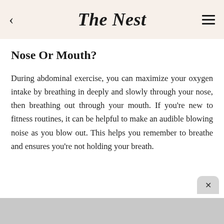The Nest
Nose Or Mouth?
During abdominal exercise, you can maximize your oxygen intake by breathing in deeply and slowly through your nose, then breathing out through your mouth. If you're new to fitness routines, it can be helpful to make an audible blowing noise as you blow out. This helps you remember to breathe and ensures you're not holding your breath.